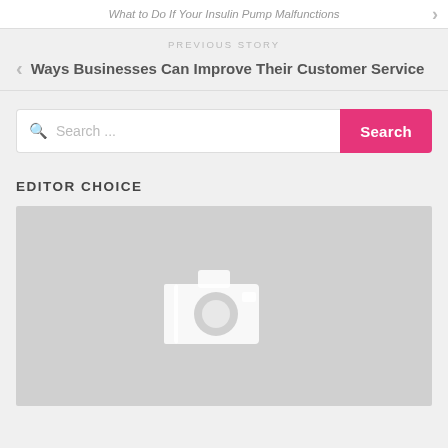What to Do If Your Insulin Pump Malfunctions
PREVIOUS STORY
Ways Businesses Can Improve Their Customer Service
[Figure (screenshot): Search bar with text input placeholder 'Search ...' and a pink 'Search' button]
EDITOR CHOICE
[Figure (photo): Gray placeholder image with white camera icon in the center]